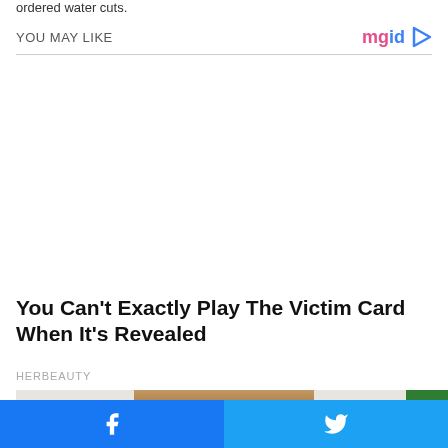ordered water cuts.
YOU MAY LIKE
[Figure (photo): Advertisement placeholder area (white space) below YOU MAY LIKE header, followed by article thumbnail and title]
You Can’t Exactly Play The Victim Card When It’s Revealed
HERBEAUTY
[Figure (photo): Person with brown hair, partial face visible]
Facebook share button | Twitter share button